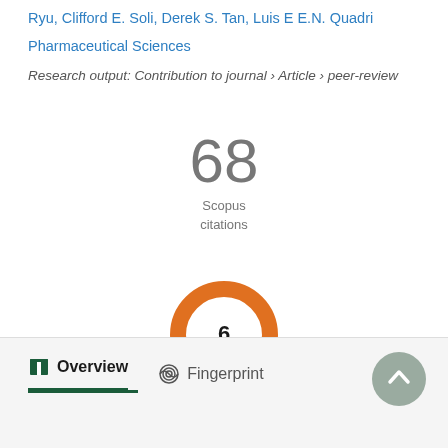Ryu, Clifford E. Soli, Derek S. Tan, Luis E E.N. Quadri
Pharmaceutical Sciences
Research output: Contribution to journal › Article › peer-review
[Figure (infographic): 68 Scopus citations badge]
[Figure (donut-chart): Orange donut chart with number 6 in center]
Overview
Fingerprint